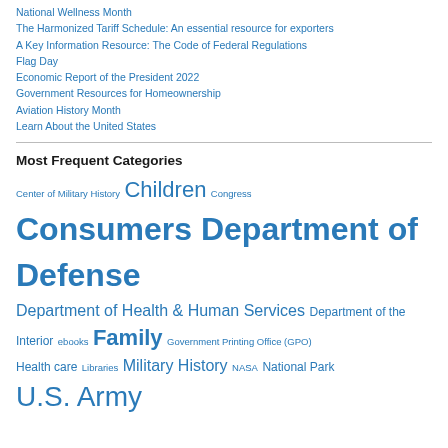National Wellness Month
The Harmonized Tariff Schedule: An essential resource for exporters
A Key Information Resource: The Code of Federal Regulations
Flag Day
Economic Report of the President 2022
Government Resources for Homeownership
Aviation History Month
Learn About the United States
Most Frequent Categories
Center of Military History  Children  Congress  Consumers Department of Defense  Department of Health & Human Services  Department of the Interior  ebooks  Family  Government Printing Office (GPO)  Health care  Libraries  Military History  NASA  National Park  U.S. Army